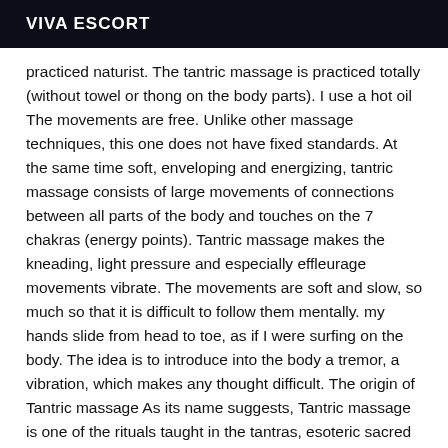VIVA ESCORT
practiced naturist. The tantric massage is practiced totally (without towel or thong on the body parts). I use a hot oil The movements are free. Unlike other massage techniques, this one does not have fixed standards. At the same time soft, enveloping and energizing, tantric massage consists of large movements of connections between all parts of the body and touches on the 7 chakras (energy points). Tantric massage makes the kneading, light pressure and especially effleurage movements vibrate. The movements are soft and slow, so much so that it is difficult to follow them mentally. my hands slide from head to toe, as if I were surfing on the body. The idea is to introduce into the body a tremor, a vibration, which makes any thought difficult. The origin of Tantric massage As its name suggests, Tantric massage is one of the rituals taught in the tantras, esoteric sacred books that led to one of the forms of Hindu*e. It undergoes the influence of the thousand-year-old